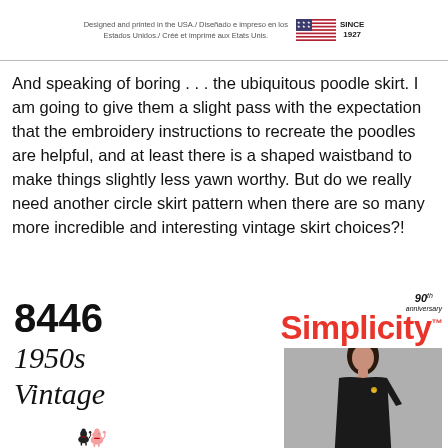[Figure (other): Top banner with text 'Designed and printed in the USA / Diseñado e impreso en los Estados Unidos. / Créé et imprimé aux Etats Unis.' alongside a small American flag illustration and 'SINCE 1927' text]
And speaking of boring . . . the ubiquitous poodle skirt.  I am going to give them a slight pass with the expectation that the embroidery instructions to recreate the poodles are helpful, and at least there is a shaped waistband to make things slightly less yawn worthy.  But do we really need another circle skirt pattern when there are so many more incredible and interesting vintage skirt choices?!
[Figure (other): Simplicity sewing pattern 8446 cover showing '1950s Vintage' label with illustrated poodles on the left side, and a photo of a woman model wearing a black dress on the right side, with the Simplicity 90th anniversary logo at top right]